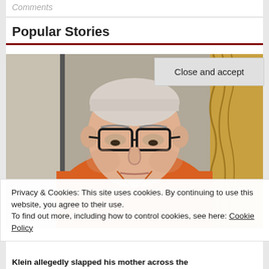Comments
Popular Stories
[Figure (photo): Man wearing glasses and an orange shirt, appearing to look downward, with a decorative curtain visible in the background. Appears to be a court or detention-related photo.]
Privacy & Cookies: This site uses cookies. By continuing to use this website, you agree to their use.
To find out more, including how to control cookies, see here: Cookie Policy
Close and accept
Klein allegedly slapped his mother across the